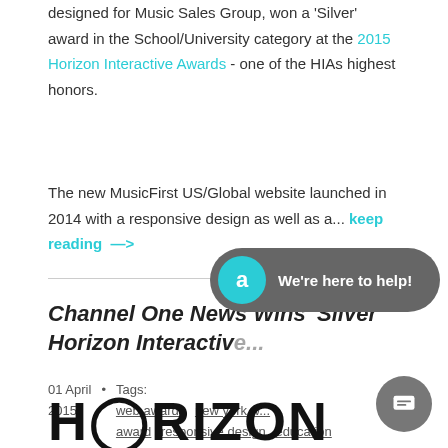designed for Music Sales Group, won a 'Silver' award in the School/University category at the 2015 Horizon Interactive Awards - one of the HIAs highest honors.
The new MusicFirst US/Global website launched in 2014 with a responsive design as well as a... keep reading →
Channel One News Wins 'Silver' Horizon Interactiv...
01 April 2015 • Tags: web awards new york w... award responsive design education
[Figure (logo): HORIZON logo in large bold black text, partially visible at bottom of page]